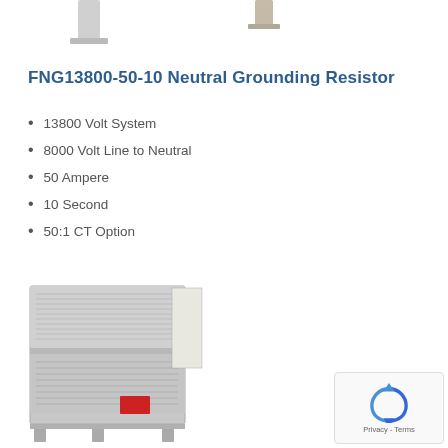[Figure (photo): Partial view of equipment components at the top of the page, cut off]
FNG13800-50-10 Neutral Grounding Resistor
13800 Volt System
8000 Volt Line to Neutral
50 Ampere
10 Second
50:1 CT Option
[Figure (photo): Photo of FNG13800-50-10 Neutral Grounding Resistor — a large metal enclosure with louvered vents on a metal stand frame, shown at an angle]
[Figure (other): reCAPTCHA widget showing the recaptcha logo icon and Privacy - Terms text]